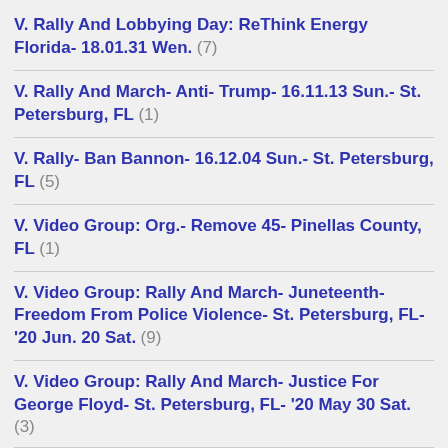V. Rally And Lobbying Day: ReThink Energy Florida- 18.01.31 Wen. (7)
V. Rally And March- Anti- Trump- 16.11.13 Sun.- St. Petersburg, FL (1)
V. Rally- Ban Bannon- 16.12.04 Sun.- St. Petersburg, FL (5)
V. Video Group: Org.- Remove 45- Pinellas County, FL (1)
V. Video Group: Rally And March- Juneteenth- Freedom From Police Violence- St. Petersburg, FL- '20 Jun. 20 Sat. (9)
V. Video Group: Rally And March- Justice For George Floyd- St. Petersburg, FL- '20 May 30 Sat. (3)